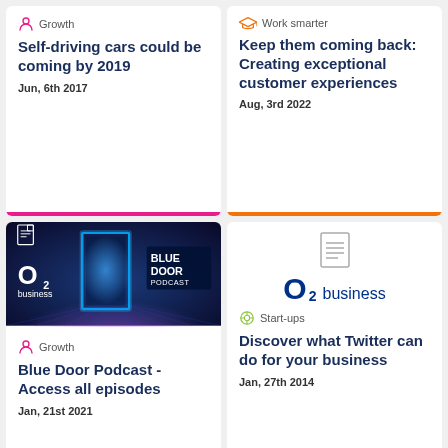[Figure (infographic): Card 1: Growth category with person icon]
Self-driving cars could be coming by 2019
Jun, 6th 2017
[Figure (infographic): Card 2: Work smarter category with graduation cap icon]
Keep them coming back: Creating exceptional customer experiences
Aug, 3rd 2022
[Figure (photo): Blue Door Podcast image with O2 business branding on dark blue background with neon blue door]
[Figure (infographic): Card 3: Growth category label below image]
Blue Door Podcast - Access all episodes
Jan, 21st 2021
[Figure (logo): O2 business logo with document icon above]
Start-ups
Discover what Twitter can do for your business
Jan, 27th 2014